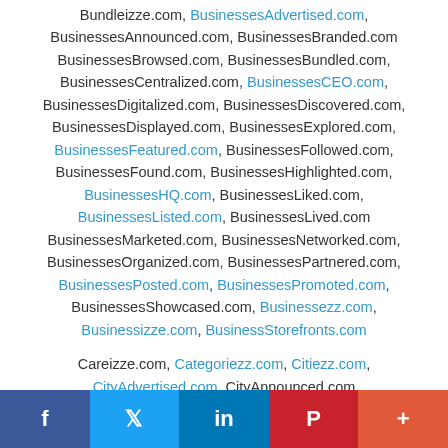Bundleizze.com, BusinessesAdvertised.com, BusinessesAnnounced.com, BusinessesBranded.com BusinessesBrowsed.com, BusinessesBundled.com, BusinessesCentralized.com, BusinessesCEO.com, BusinessesDigitalized.com, BusinessesDiscovered.com, BusinessesDisplayed.com, BusinessesExplored.com, BusinessesFeatured.com, BusinessesFollowed.com, BusinessesFound.com, BusinessesHighlighted.com, BusinessesHQ.com, BusinessesLiked.com, BusinessesListed.com, BusinessesLived.com BusinessesMarketed.com, BusinessesNetworked.com, BusinessesOrganized.com, BusinessesPartnered.com, BusinessesPosted.com, BusinessesPromoted.com, BusinessesShowcased.com, Businessezz.com, Businessizze.com, BusinessStorefronts.com
Careizze.com, Categoriezz.com, Citiezz.com, CityAdvertised.com, CityAnnounced.com
[Figure (other): Social media share bar with Facebook, Twitter, LinkedIn, Pinterest, and More buttons]